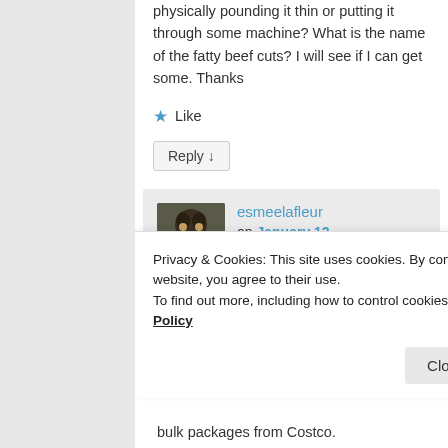physically pounding it thin or putting it through some machine? What is the name of the fatty beef cuts? I will see if I can get some. Thanks
★ Like
Reply ↓
esmeelafleur on January 12, 2018 at 1:42 PM said:
Privacy & Cookies: This site uses cookies. By continuing to use this website, you agree to their use.
To find out more, including how to control cookies, see here: Cookie Policy
Close and accept
bulk packages from Costco.